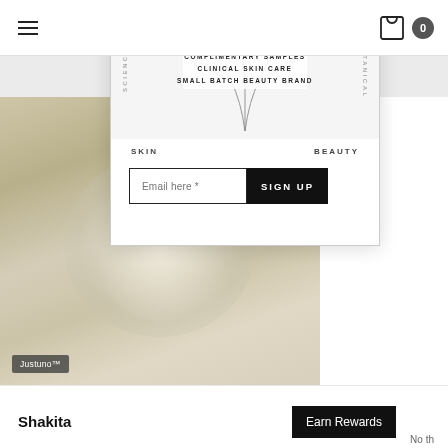[Figure (screenshot): Website screenshot showing a skincare brand popup with botanical illustration, email signup form, and background product photo. Includes navigation bar with hamburger menu and cart icon, a white popup card with rotated text SCIENCE and BOTANICAL, text overlay COMPLIMENTARY SAMPLES / CLINICAL SKIN CARE / SMALL BATCH BEAUTY BRAND, nav links SKIN and BEAUTY, an email input field and SIGN UP button, and Justuno™ attribution badge. Bottom section shows Shakita text and Earn Rewards button.]